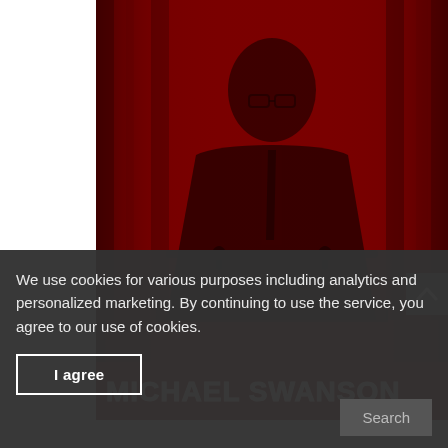[Figure (photo): A red-tinted photograph of an elderly man in a suit and tie seated at a desk with microphones, against a draped curtain background. The name 'MICHAEL SWANSON' appears in large bold white capital letters at the bottom of the image.]
We use cookies for various purposes including analytics and personalized marketing. By continuing to use the service, you agree to our use of cookies.
I agree